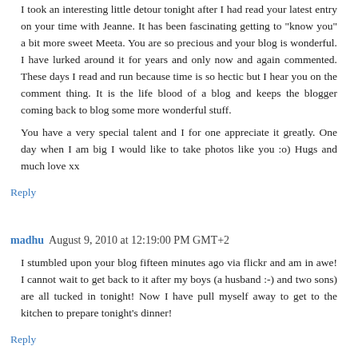I took an interesting little detour tonight after I had read your latest entry on your time with Jeanne. It has been fascinating getting to "know you" a bit more sweet Meeta. You are so precious and your blog is wonderful. I have lurked around it for years and only now and again commented. These days I read and run because time is so hectic but I hear you on the comment thing. It is the life blood of a blog and keeps the blogger coming back to blog some more wonderful stuff.
You have a very special talent and I for one appreciate it greatly. One day when I am big I would like to take photos like you :o) Hugs and much love xx
Reply
madhu   August 9, 2010 at 12:19:00 PM GMT+2
I stumbled upon your blog fifteen minutes ago via flickr and am in awe! I cannot wait to get back to it after my boys (a husband :-) and two sons) are all tucked in tonight! Now I have pull myself away to get to the kitchen to prepare tonight's dinner!
Reply